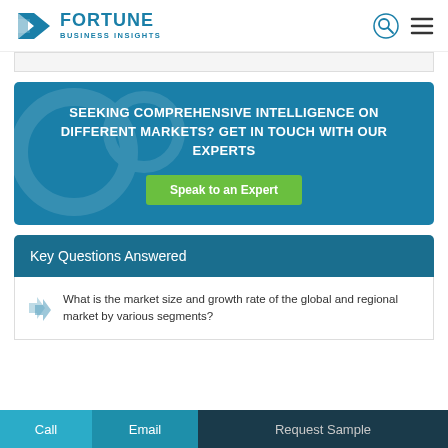FORTUNE BUSINESS INSIGHTS
[Figure (screenshot): Partially visible navigation bar with some text]
SEEKING COMPREHENSIVE INTELLIGENCE ON DIFFERENT MARKETS? GET IN TOUCH WITH OUR EXPERTS — Speak to an Expert
Key Questions Answered
What is the market size and growth rate of the global and regional market by various segments?
Call | Email | Request Sample